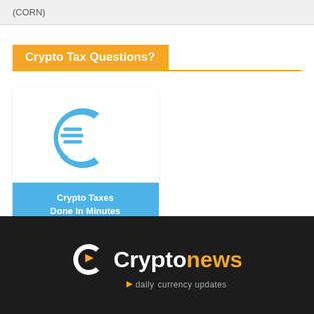(CORN)
Crypto Tax Questions?
[Figure (logo): CryptoTrader.Tax logo — blue stylized C with speed lines, above a blue rounded button reading 'Crypto Taxes Done In Minutes']
[Figure (logo): Cryptonews logo on dark background — white C with orange triangle, text 'Cryptonews' in white/orange, tagline 'daily currency updates' in orange/grey]